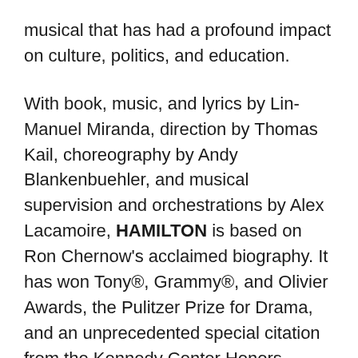musical that has had a profound impact on culture, politics, and education.
With book, music, and lyrics by Lin-Manuel Miranda, direction by Thomas Kail, choreography by Andy Blankenbuehler, and musical supervision and orchestrations by Alex Lacamoire, HAMILTON is based on Ron Chernow's acclaimed biography. It has won Tony®, Grammy®, and Olivier Awards, the Pulitzer Prize for Drama, and an unprecedented special citation from the Kennedy Center Honors.
The HAMILTON creative team previously collaborated on the Tony Award®-Winning